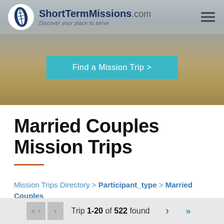[Figure (screenshot): Hero banner image showing people in a wheat field, with ShortTermMissions.com logo and navigation in the top left, a hamburger menu icon top right, and a teal 'Find a Mission Trip >' button centered in the image.]
Married Couples Mission Trips
Mission Trips Directory > Participant_type > Married Couples
Trip 1-20 of 522 found